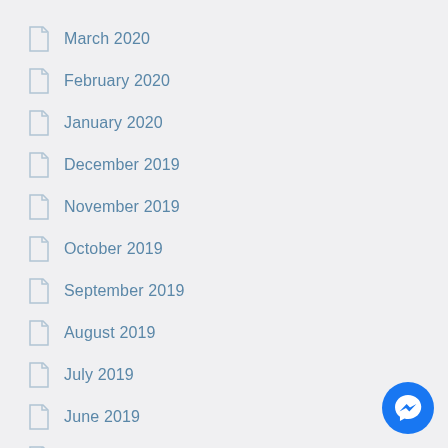March 2020
February 2020
January 2020
December 2019
November 2019
October 2019
September 2019
August 2019
July 2019
June 2019
May 2019
April 2019
March 2019
February 2019
[Figure (illustration): Facebook Messenger chat button, blue circle with white lightning bolt/chat icon]